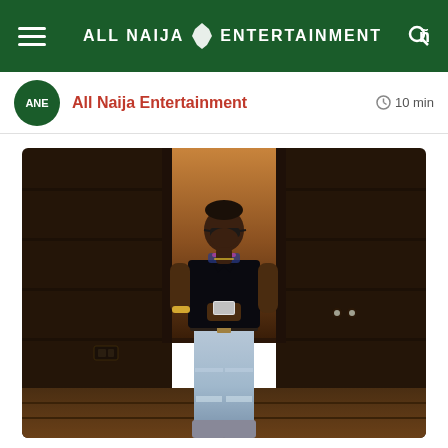ALL NAIJA ENTERTAINMENT
All Naija Entertainment
10 min
[Figure (photo): Young man in dark polo shirt and light blue ripped jeans standing in a doorway looking at his phone, in a dark wood-paneled room]